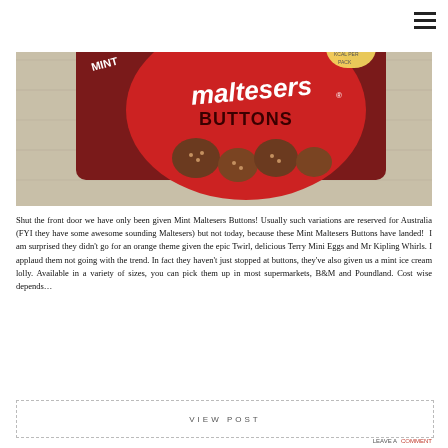[Figure (photo): Product photo of Mint Maltesers Buttons chocolate snack pack on a wooden surface. The packaging features a red circle with 'maltesers' branding, 'BUTTONS' text, mint green accents, and shows chocolate button-shaped pieces.]
Shut the front door we have only been given Mint Maltesers Buttons! Usually such variations are reserved for Australia (FYI they have some awesome sounding Maltesers) but not today, because these Mint Maltesers Buttons have landed!  I am surprised they didn't go for an orange theme given the epic Twirl, delicious Terry Mini Eggs and Mr Kipling Whirls. I applaud them not going with the trend. In fact they haven't just stopped at buttons, they've also given us a mint ice cream lolly. Available in a variety of sizes, you can pick them up in most supermarkets, B&M and Poundland. Cost wise depends…
VIEW POST
LEAVE A COMMENT